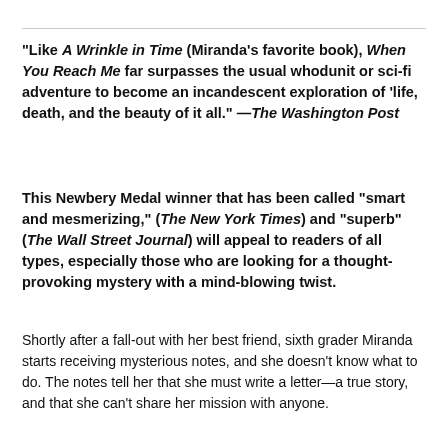"Like A Wrinkle in Time (Miranda's favorite book), When You Reach Me far surpasses the usual whodunit or sci-fi adventure to become an incandescent exploration of 'life, death, and the beauty of it all." —The Washington Post
This Newbery Medal winner that has been called "smart and mesmerizing," (The New York Times) and "superb" (The Wall Street Journal) will appeal to readers of all types, especially those who are looking for a thought-provoking mystery with a mind-blowing twist.
Shortly after a fall-out with her best friend, sixth grader Miranda starts receiving mysterious notes, and she doesn't know what to do. The notes tell her that she must write a letter—a true story, and that she can't share her mission with anyone.